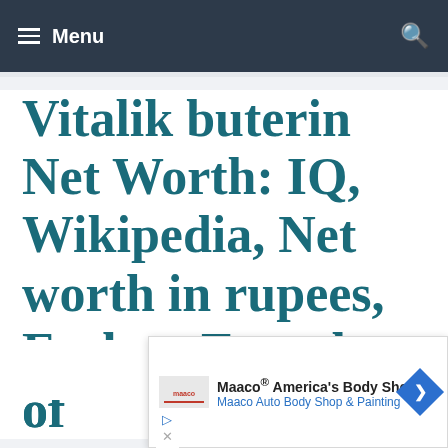Menu
Vitalik buterin Net Worth: IQ, Wikipedia, Net worth in rupees, Forbes, Founder of the... 2023
[Figure (other): Advertisement banner for Maaco America's Body Shop showing logo, text 'Maaco® America's Body Shop / Maaco Auto Body Shop & Painting' and a blue directional arrow sign icon]